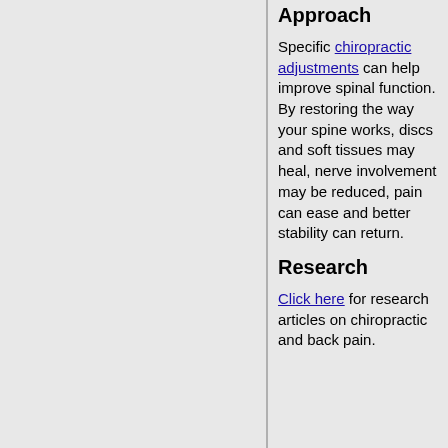Approach
Specific chiropractic adjustments can help improve spinal function. By restoring the way your spine works, discs and soft tissues may heal, nerve involvement may be reduced, pain can ease and better stability can return.
Research
Click here for research articles on chiropractic and back pain.